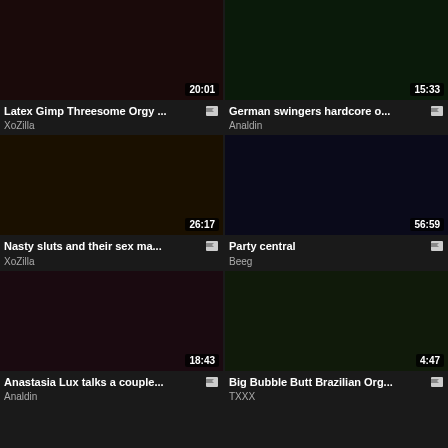[Figure (screenshot): Video thumbnail with duration 20:01]
Latex Gimp Threesome Orgy ...
XoZilla
[Figure (screenshot): Video thumbnail with duration 15:33]
German swingers hardcore o...
Analdin
[Figure (screenshot): Video thumbnail with duration 26:17]
Nasty sluts and their sex ma...
XoZilla
[Figure (screenshot): Video thumbnail with duration 56:59]
Party central
Beeg
[Figure (screenshot): Video thumbnail with duration 18:43]
Anastasia Lux talks a couple...
Analdin
[Figure (screenshot): Video thumbnail with duration 4:47]
Big Bubble Butt Brazilian Org...
TXXX